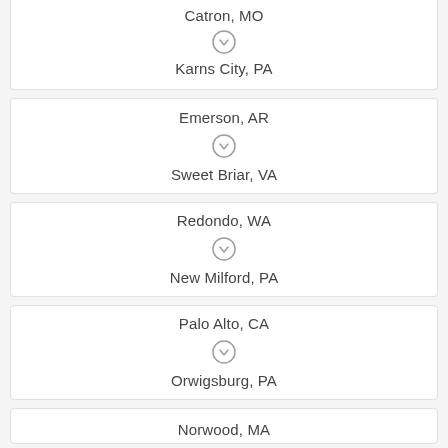Catron, MO → Karns City, PA
Emerson, AR → Sweet Briar, VA
Redondo, WA → New Milford, PA
Palo Alto, CA → Orwigsburg, PA
Norwood, MA